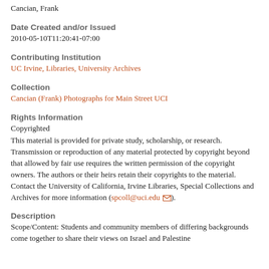Cancian, Frank
Date Created and/or Issued
2010-05-10T11:20:41-07:00
Contributing Institution
UC Irvine, Libraries, University Archives
Collection
Cancian (Frank) Photographs for Main Street UCI
Rights Information
Copyrighted
This material is provided for private study, scholarship, or research. Transmission or reproduction of any material protected by copyright beyond that allowed by fair use requires the written permission of the copyright owners. The authors or their heirs retain their copyrights to the material. Contact the University of California, Irvine Libraries, Special Collections and Archives for more information (spcoll@uci.edu).
Description
Scope/Content: Students and community members of differing backgrounds come together to share their views on Israel and Palestine